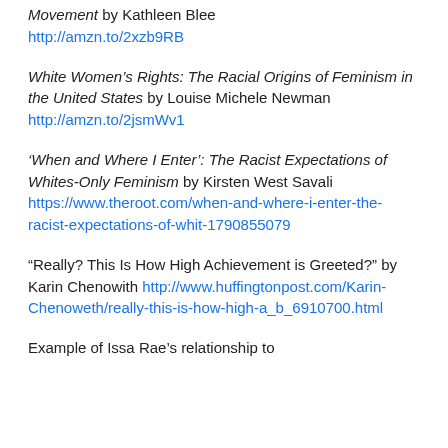Movement by Kathleen Blee http://amzn.to/2xzb9RB
White Women's Rights: The Racial Origins of Feminism in the United States by Louise Michele Newman http://amzn.to/2jsmWv1
'When and Where I Enter': The Racist Expectations of Whites-Only Feminism by Kirsten West Savali https://www.theroot.com/when-and-where-i-enter-the-racist-expectations-of-whit-1790855079
"Really? This Is How High Achievement is Greeted?" by Karin Chenowith http://www.huffingtonpost.com/Karin-Chenoweth/really-this-is-how-high-a_b_6910700.html
Example of Issa Rae’s relationship to